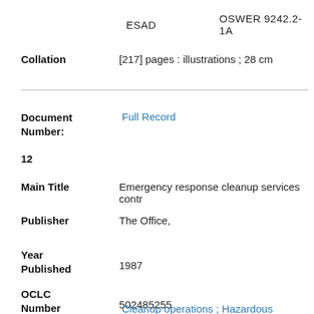ESAD    OSWER 9242.2-1A
Collation   [217] pages : illustrations ; 28 cm
Document Number:  Full Record
12
Main Title   Emergency response cleanup services contr
Publisher   The Office,
Year Published   1987
OCLC Number   502485255
Cleanup operations ; Hazardous materials ;